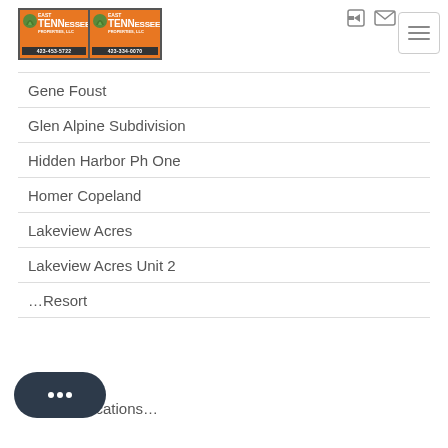[Figure (logo): East Tennessee Properties LLC logo - two orange boxes with leaf icon and phone numbers 423-453-5722 and 423-334-0070]
Gene Foust
Glen Alpine Subdivision
Hidden Harbor Ph One
Homer Copeland
Lakeview Acres
Lakeview Acres Unit 2
…Resort
Multiple locations…